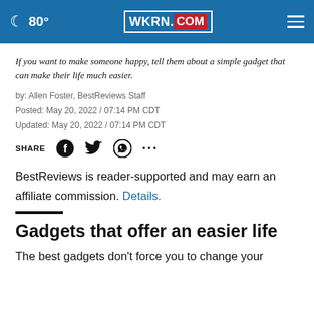80° WKRN.COM
If you want to make someone happy, tell them about a simple gadget that can make their life much easier.
by: Allen Foster, BestReviews Staff
Posted: May 20, 2022 / 07:14 PM CDT
Updated: May 20, 2022 / 07:14 PM CDT
SHARE [Facebook] [Twitter] [WhatsApp] [...]
BestReviews is reader-supported and may earn an affiliate commission. Details.
Gadgets that offer an easier life
The best gadgets don't force you to change your